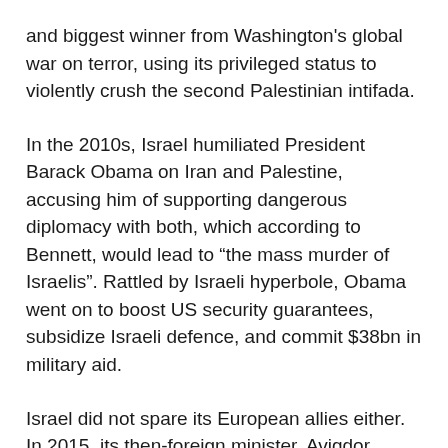and biggest winner from Washington's global war on terror, using its privileged status to violently crush the second Palestinian intifada.
In the 2010s, Israel humiliated President Barack Obama on Iran and Palestine, accusing him of supporting dangerous diplomacy with both, which according to Bennett, would lead to “the mass murder of Israelis”. Rattled by Israeli hyperbole, Obama went on to boost US security guarantees, subsidize Israeli defence, and commit $38bn in military aid.
Israel did not spare its European allies either. In 2015, its then-foreign minister, Avigdor Lieberman, accused them of “betrayal” and “fueling anti-Semitism” for merely supporting Palestinian statehood, going as far as drawing parallels with European powers abandoning Czechoslovakia to the Nazis in 1938.